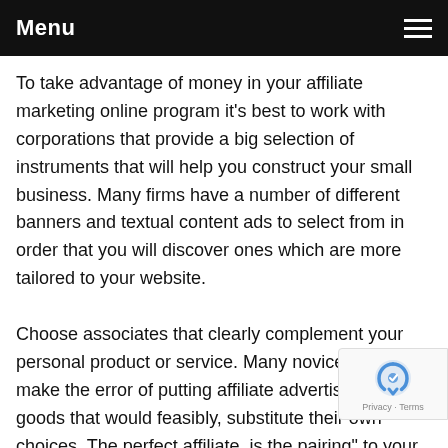Menu
To take advantage of money in your affiliate marketing online program it's best to work with corporations that provide a big selection of instruments that will help you construct your small business. Many firms have a number of different banners and textual content ads to select from in order that you will discover ones which are more tailored to your website.
Choose associates that clearly complement your personal product or service. Many novice marketers make the error of putting affiliate advertisements for goods that would feasibly, substitute their own choices. The perfect affiliate, is the pairing" to your product, that can be marketed to take y authentic providing to the subsequent level, when it comes to